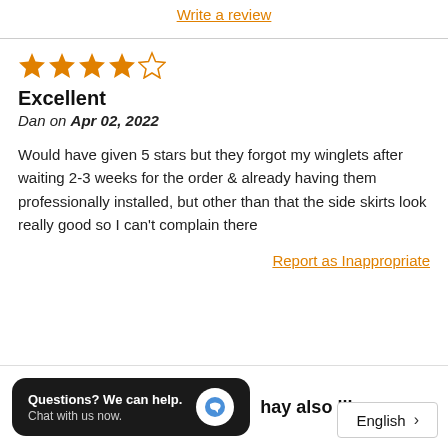Write a review
[Figure (other): 4 out of 5 filled orange stars rating]
Excellent
Dan on Apr 02, 2022
Would have given 5 stars but they forgot my winglets after waiting 2-3 weeks for the order & already having them professionally installed, but other than that the side skirts look really good so I can't complain there
Report as Inappropriate
Questions? We can help. Chat with us now.
may also like
English